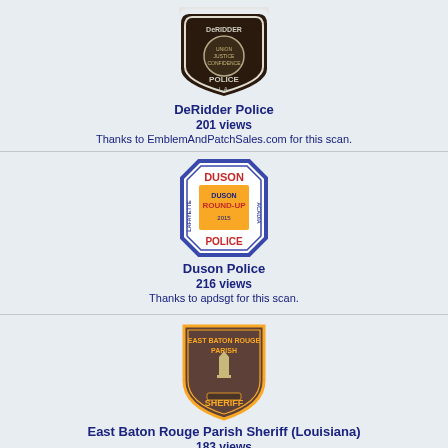[Figure (photo): DeRidder Police department patch/badge, dark brown with white border and eagle emblem]
DeRidder Police
201 views
Thanks to EmblemAndPatchSales.com for this scan.
[Figure (photo): Duson Police department patch, white background with blue border, Duson Round-Up Acadia Lafayette text with cowboy on horse]
Duson Police
216 views
Thanks to apdsgt for this scan.
[Figure (photo): East Baton Rouge Parish Sheriff Louisiana patch, olive/brown shield shape with gold border, state capitol building, Sheriff text]
East Baton Rouge Parish Sheriff (Louisiana)
183 views
Thanks to endert for this scan.